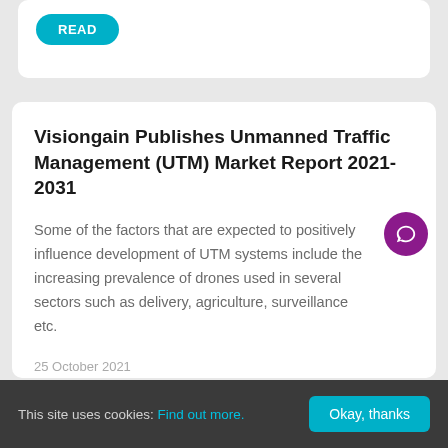READ
Visiongain Publishes Unmanned Traffic Management (UTM) Market Report 2021-2031
Some of the factors that are expected to positively influence development of UTM systems include the increasing prevalence of drones used in several sectors such as delivery, agriculture, surveillance etc.
25 October 2021
This site uses cookies: Find out more. Okay, thanks